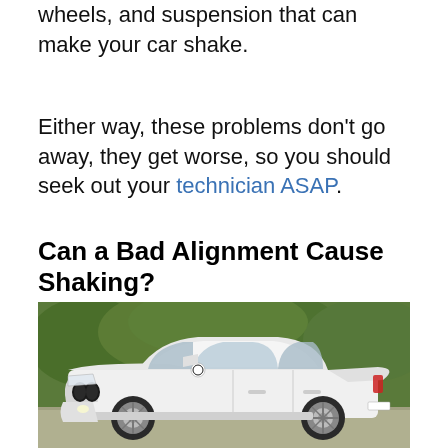wheels, and suspension that can make your car shake.
Either way, these problems don't go away, they get worse, so you should seek out your technician ASAP.
Can a Bad Alignment Cause Shaking?
[Figure (photo): White BMW 3 Series sedan parked outdoors with green trees in the background, viewed from a front three-quarter angle.]